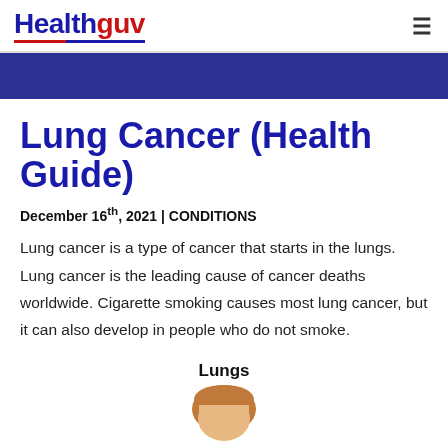Healthguv
Lung Cancer (Health Guide)
December 16th, 2021 | CONDITIONS
Lung cancer is a type of cancer that starts in the lungs. Lung cancer is the leading cause of cancer deaths worldwide. Cigarette smoking causes most lung cancer, but it can also develop in people who do not smoke.
Lungs
[Figure (illustration): Cartoon illustration of a human head/person, partially visible, representing a lungs health guide diagram]